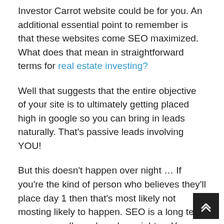Investor Carrot website could be for you. An additional essential point to remember is that these websites come SEO maximized. What does that mean in straightforward terms for real estate investing?
Well that suggests that the entire objective of your site is to ultimately getting placed high in google so you can bring in leads naturally. That's passive leads involving YOU!
But this doesn't happen over night … If you're the kind of person who believes they'll place day 1 then that's most likely not mosting likely to happen. SEO is a long term game as well as when done right … You can actually squash all your competition around you and that is why so many individuals are switching to a Carrot site since they come SEO enhanced and also don't need to worry about